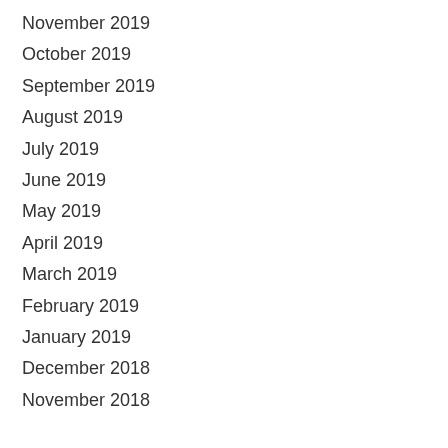November 2019
October 2019
September 2019
August 2019
July 2019
June 2019
May 2019
April 2019
March 2019
February 2019
January 2019
December 2018
November 2018